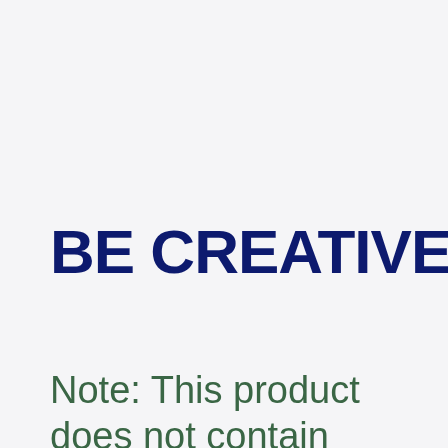BE CREATIVE.
Note: This product does not contain nicotine.